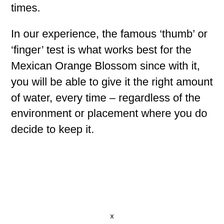times.
In our experience, the famous ‘thumb’ or ‘finger’ test is what works best for the Mexican Orange Blossom since with it, you will be able to give it the right amount of water, every time – regardless of the environment or placement where you do decide to keep it.
x